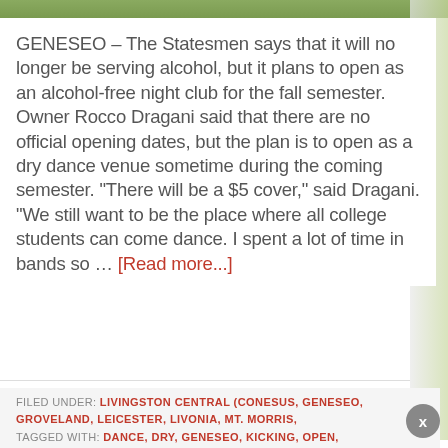[Figure (photo): Top image strip showing greenery/outdoor scene]
GENESEO – The Statesmen says that it will no longer be serving alcohol, but it plans to open as an alcohol-free night club for the fall semester. Owner Rocco Dragani said that there are no official opening dates, but the plan is to open as a dry dance venue sometime during the coming semester. "There will be a $5 cover," said Dragani. "We still want to be the place where all college students can come dance. I spent a lot of time in bands so … [Read more...]
FILED UNDER: LIVINGSTON CENTRAL (CONESUS, GENESEO, GROVELAND, LEICESTER, LIVONIA, MT. MORRIS,
TAGGED WITH: DANCE, DRY, GENESEO, KICKING, OPEN,